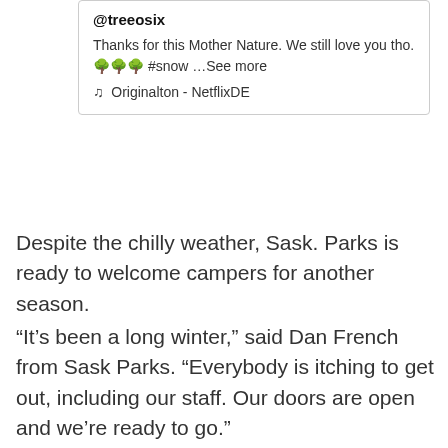[Figure (screenshot): Screenshot of a social media post by @treeosix: 'Thanks for this Mother Nature. We still love you tho. 🌲🌲🌲 #snow …See more' with audio credit 'Originalton - NetflixDE']
Despite the chilly weather, Sask. Parks is ready to welcome campers for another season.
“It’s been a long winter,” said Dan French from Sask Parks. “Everybody is itching to get out, including our staff. Our doors are open and we’re ready to go.”
Regina’s Joanne Goulet Golf Course had multiple golfers cancel tee times prior to Friday’s chilly weather. Head professional Brian Dueck said long weekends are usually great times for golfers to hit the links.